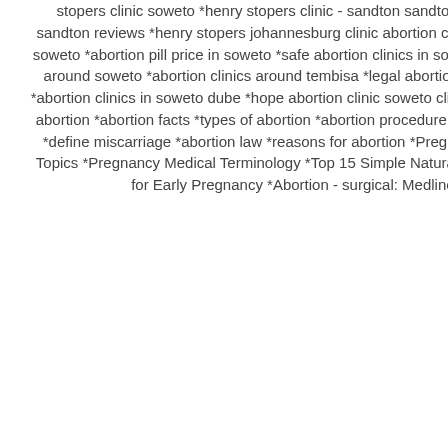stopers clinic soweto *henry stopers clinic - sandton sandton *henry stopers sandton reviews *henry stopers johannesburg clinic abortion cost *abortion pills in soweto *abortion pill price in soweto *safe abortion clinics in soweto *abortion clinic around soweto *abortion clinics around tembisa *legal abortion clinics in soweto *abortion clinics in soweto dube *hope abortion clinic soweto clinic abortion *what is abortion *abortion facts *types of abortion *abortion procedure *causes of abortion *define miscarriage *abortion law *reasons for abortion *Pregnancy - Pregnancy Topics *Pregnancy Medical Terminology *Top 15 Simple Natural Abortion Methods for Early Pregnancy *Abortion - surgical: MedlinePlus